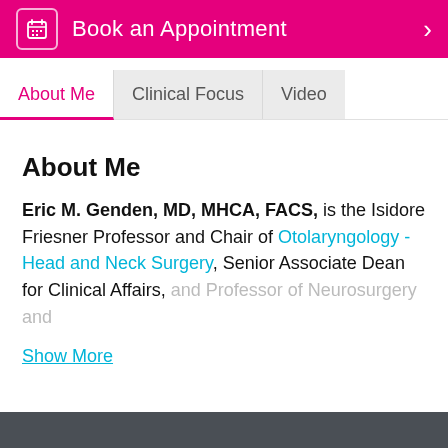[Figure (screenshot): Pink/magenta button bar with calendar icon and 'Book an Appointment' text and right arrow]
About Me
Clinical Focus
Video
About Me
Eric M. Genden, MD, MHCA, FACS, is the Isidore Friesner Professor and Chair of Otolaryngology - Head and Neck Surgery, Senior Associate Dean for Clinical Affairs, and Professor of Neurosurgery and
Show More